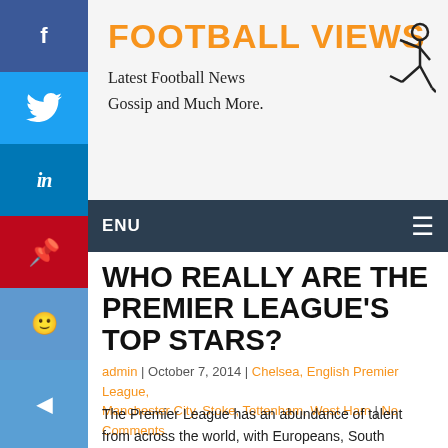FOOTBALL VIEWS
Latest Football News
Gossip and Much More.
WHO REALLY ARE THE PREMIER LEAGUE'S TOP STARS?
admin | October 7, 2014 | Chelsea, English Premier League, Manchester City, Stoke, Tottenham, West Ham | No Comments
The Premier League has an abundance of talent from across the world, with Europeans, South Americans, Asian players, and North American players all making a splash in English football. However, some of the African talent that has flooded into the Premier League since its inception has been remarkable, with a